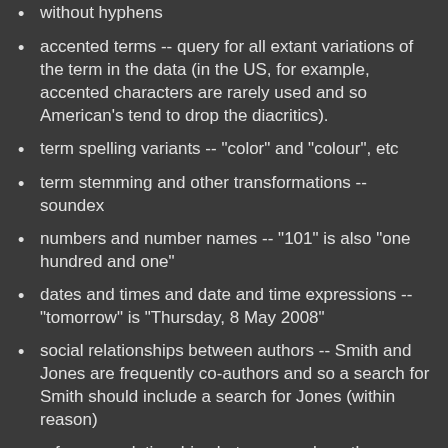without hyphens
accented terms -- query for all extant variations of the term in the data (in the US, for example, accented characters are rarely used and so American's tend to drop the diacritics).
term spelling variants -- "color" and "colour", etc
term stemming and other transformations -- soundex
numbers and number names -- "101" is also "one hundred and one"
dates and times and date and time expressions -- "tomorrow" is "Thursday, 8 May 2008"
social relationships between authors -- Smith and Jones are frequently co-authors and so a search for Smith should include a search for Jones (within reason)
reference relationships between works -- the original linking
professional vocabularies -- nurses and doctors